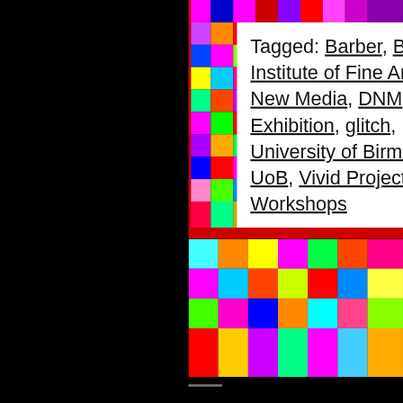[Figure (photo): Glitch art colorful pixelated image with bright magenta, blue, green, red, yellow color blocks on right side; black area on left]
Tagged: Barber, Barber Institute of Fine Arts, Dirty New Media, DNM, Exhibition, glitch, University of Birmingham, UoB, Vivid Projects, Workshops
FOLLOW ME
[Figure (photo): Row of colorful glitch/abstract art thumbnail images in white, light blue, red, pink/purple, and orange]
[Figure (photo): Second row of colorful glitch/abstract art thumbnail images in cyan, blue, and red/pink]